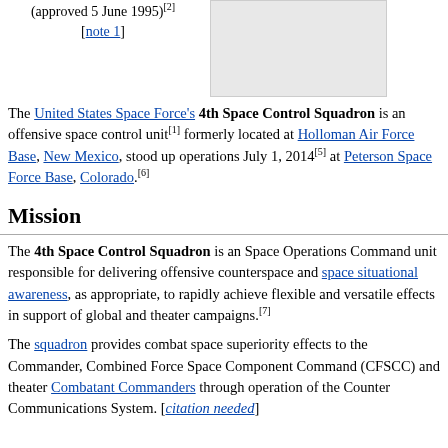(approved 5 June 1995)[2] [note 1]
[Figure (other): Gray placeholder image box]
The United States Space Force's 4th Space Control Squadron is an offensive space control unit[1] formerly located at Holloman Air Force Base, New Mexico, stood up operations July 1, 2014[5] at Peterson Space Force Base, Colorado.[6]
Mission
The 4th Space Control Squadron is an Space Operations Command unit responsible for delivering offensive counterspace and space situational awareness, as appropriate, to rapidly achieve flexible and versatile effects in support of global and theater campaigns.[7]
The squadron provides combat space superiority effects to the Commander, Combined Force Space Component Command (CFSCC) and theater Combatant Commanders through operation of the Counter Communications System.[citation needed]